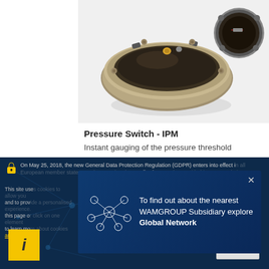[Figure (photo): Pressure Switch IPM product photo showing a circular metal pressure switch device from top view and a smaller inset showing the device from another angle with wiring visible]
Pressure Switch - IPM
Instant gauging of the pressure threshold
On May 25, 2018, the new General Data Protection Regulation (GDPR) enters into effect in all European member states. We have updated our Privacy policy in accordance with this new regulation.
This site uses cookies to allow you to take advantage of all of its functionality and to provide a personalised experience. By continuing to navigate on this page or clicking on one element of the site or any other element, it is up to learn more on our use of cookies and how to modify their setting.
[Figure (infographic): Network node graphic icon for WAMGROUP Global Network popup]
To find out about the nearest WAMGROUP Subsidiary explore Global Network
and Cookies
[Figure (other): Yellow information icon with letter i]
OK